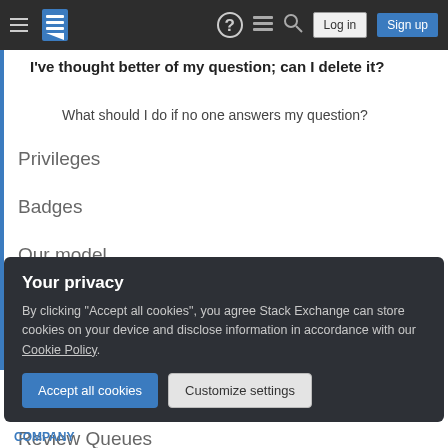Stack Exchange navigation bar with hamburger menu, logo, help, chat, search icons, Log in and Sign up buttons
I've thought better of my question; can I delete it?
What should I do if no one answers my question?
Privileges
Badges
Our model
Reputation & Moderation
Answering
My Account
Review Queues
Your privacy
By clicking "Accept all cookies", you agree Stack Exchange can store cookies on your device and disclose information in accordance with our Cookie Policy.
COMPANY